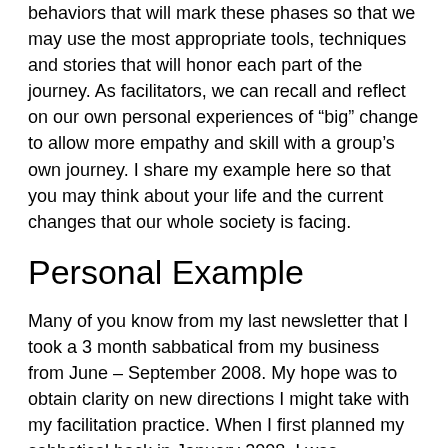behaviors that will mark these phases so that we may use the most appropriate tools, techniques and stories that will honor each part of the journey. As facilitators, we can recall and reflect on our own personal experiences of “big” change to allow more empathy and skill with a group’s own journey. I share my example here so that you may think about your life and the current changes that our whole society is facing.
Personal Example
Many of you know from my last newsletter that I took a 3 month sabbatical from my business from June – September 2008. My hope was to obtain clarity on new directions I might take with my facilitation practice. When I first planned my sabbatical back in January 2008, I was extremely hopeful and excited (Phase 1 beginning). As I got closer to the sabbatical and even during the sabbatical, I was afraid of what I might have to look at by stopping the extremely busy pace that I